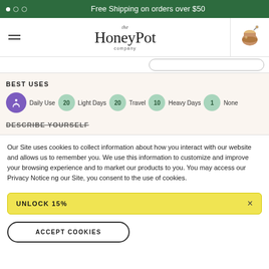Free Shipping on orders over $50
[Figure (logo): The Honey Pot Company logo with honey pot icon]
BEST USES
Daily Use 20  Light Days 20  Travel 10  Heavy Days 1  None
DESCRIBE YOURSELF
Our Site uses cookies to collect information about how you interact with our website and allows us to remember you. We use this information to customize and improve your browsing experience and to market our products to you. You may access our Privacy Notice ng our Site, you consent to the use of cookies.
UNLOCK 15%
ACCEPT COOKIES